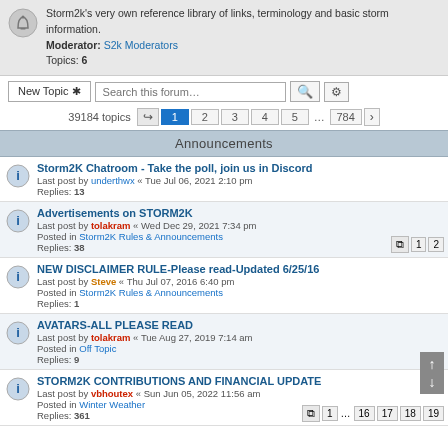Storm2k's very own reference library of links, terminology and basic storm information.
Moderator: S2k Moderators
Topics: 6
New Topic * | Search this forum... | [search icon] | [settings icon]
39184 topics  [1] 2 3 4 5 ... 784 >
Announcements
Storm2K Chatroom - Take the poll, join us in Discord
Last post by underthwx « Tue Jul 06, 2021 2:10 pm
Replies: 13
Advertisements on STORM2K
Last post by tolakram « Wed Dec 29, 2021 7:34 pm
Posted in Storm2K Rules & Announcements
Replies: 38
NEW DISCLAIMER RULE-Please read-Updated 6/25/16
Last post by Steve « Thu Jul 07, 2016 6:40 pm
Posted in Storm2K Rules & Announcements
Replies: 1
AVATARS-ALL PLEASE READ
Last post by tolakram « Tue Aug 27, 2019 7:14 am
Posted in Off Topic
Replies: 9
STORM2K CONTRIBUTIONS AND FINANCIAL UPDATE
Last post by vbhoutex « Sun Jun 05, 2022 11:56 am
Posted in Winter Weather
Replies: 361